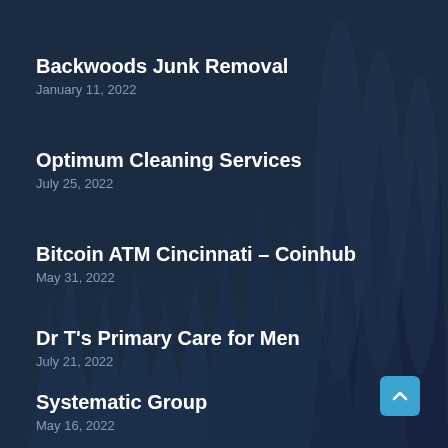Backwoods Junk Removal
January 11, 2022
Optimum Cleaning Services
July 25, 2022
Bitcoin ATM Cincinnati – Coinhub
May 31, 2022
Dr T's Primary Care for Men
July 21, 2022
Systematic Group
May 16, 2022